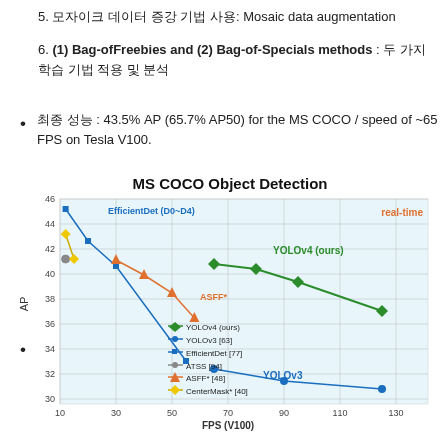5. 모자이크 데이터 증강 기법 사용: Mosaic data augmentation
6. (1) Bag-ofFreebies and (2) Bag-of-Specials methods : 두 가지 학습 기법 적용 및 분석
최종 성능 : 43.5% AP (65.7% AP50) for the MS COCO / speed of ~65 FPS on Tesla V100.
[Figure (line-chart): MS COCO Object Detection]